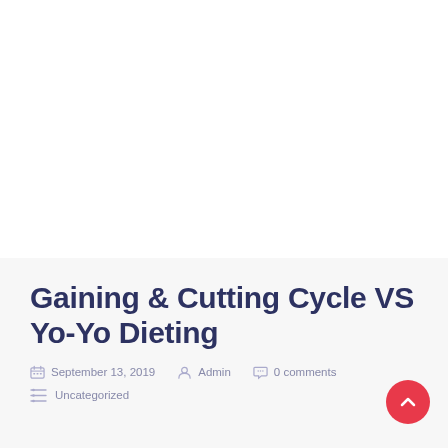Gaining & Cutting Cycle VS Yo-Yo Dieting
September 13, 2019  Admin  0 comments
Uncategorized